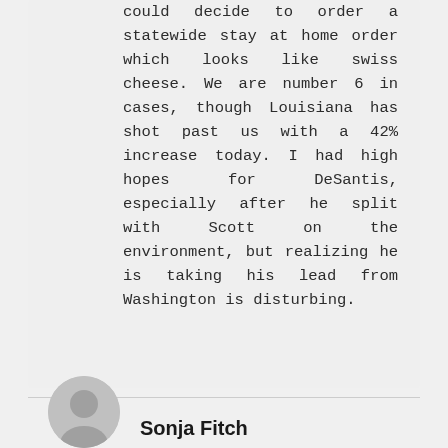could decide to order a statewide stay at home order which looks like swiss cheese. We are number 6 in cases, though Louisiana has shot past us with a 42% increase today. I had high hopes for DeSantis, especially after he split with Scott on the environment, but realizing he is taking his lead from Washington is disturbing.
Sonja Fitch